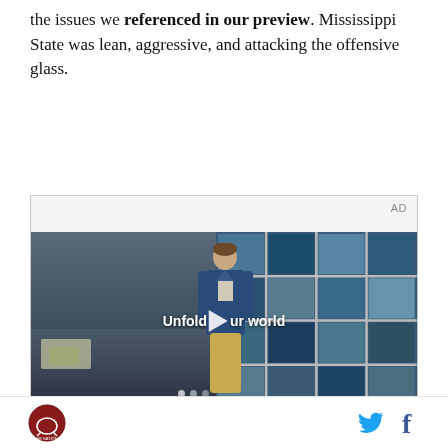the issues we referenced in our preview. Mississippi State was lean, aggressive, and attacking the offensive glass.
[Figure (screenshot): Video advertisement placeholder showing a young man standing in front of a tiled blue grid wall in a store-like setting. Text overlay reads 'Unfold your world' with a play button in the center. AD label in top right corner.]
Site logo and social media icons (Twitter, Facebook)